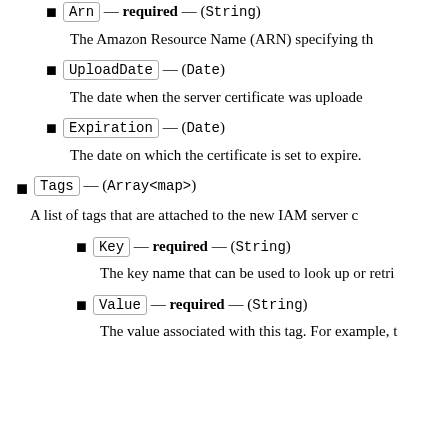Arn — required — (String)
The Amazon Resource Name (ARN) specifying th
UploadDate — (Date)
The date when the server certificate was uploade
Expiration — (Date)
The date on which the certificate is set to expire.
Tags — (Array<map>)
A list of tags that are attached to the new IAM server c
Key — required — (String)
The key name that can be used to look up or retri
Value — required — (String)
The value associated with this tag. For example, t